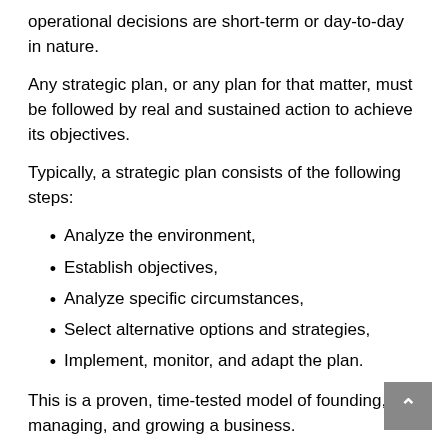operational decisions are short-term or day-to-day in nature.
Any strategic plan, or any plan for that matter, must be followed by real and sustained action to achieve its objectives.
Typically, a strategic plan consists of the following steps:
Analyze the environment,
Establish objectives,
Analyze specific circumstances,
Select alternative options and strategies,
Implement, monitor, and adapt the plan.
This is a proven, time-tested model of founding, managing, and growing a business.
Does this plan apply only to business? Absolutely not!
Let's look at individuals. Many people create their